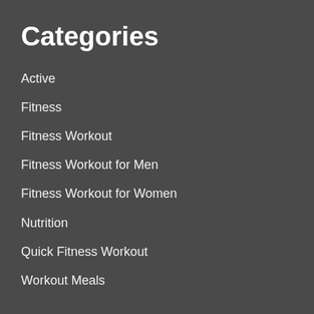Categories
Active
Fitness
Fitness Workout
Fitness Workout for Men
Fitness Workout for Women
Nutrition
Quick Fitness Workout
Workout Meals
Menu